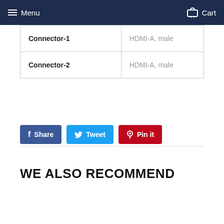Menu   Cart
| Connector-1 | HDMI-A, male |
| Connector-2 | HDMI-A, male |
Share   Tweet   Pin it
WE ALSO RECOMMEND